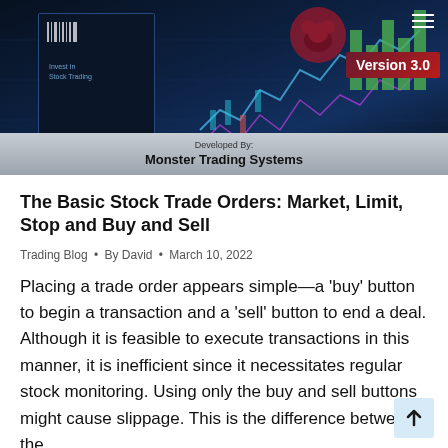[Figure (illustration): Product box image showing Monster Trading Systems software Version 3.0, with dark blue trading chart graphics, red bear icon, bar chart graphics, and a silver label reading 'Developed By: Monster Trading Systems'. A hamburger menu icon is visible in the top right corner.]
The Basic Stock Trade Orders: Market, Limit, Stop and Buy and Sell
Trading Blog • By David • March 10, 2022
Placing a trade order appears simple—a 'buy' button to begin a transaction and a 'sell' button to end a deal. Although it is feasible to execute transactions in this manner, it is inefficient since it necessitates regular stock monitoring. Using only the buy and sell buttons might cause slippage. This is the difference between the...